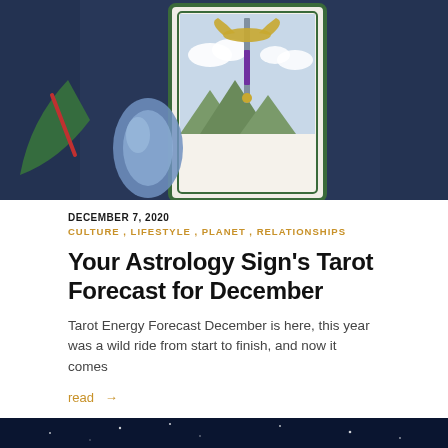[Figure (photo): A tarot card showing a sword with wings against a sky background, surrounded by blue fabric and a blue crystal figurine]
DECEMBER 7, 2020
CULTURE , LIFESTYLE , PLANET , RELATIONSHIPS
Your Astrology Sign's Tarot Forecast for December
Tarot Energy Forecast  December is here, this year was a wild ride from start to finish, and now it comes
read →
[Figure (photo): Bottom strip of a night sky image with stars, dark blue background]